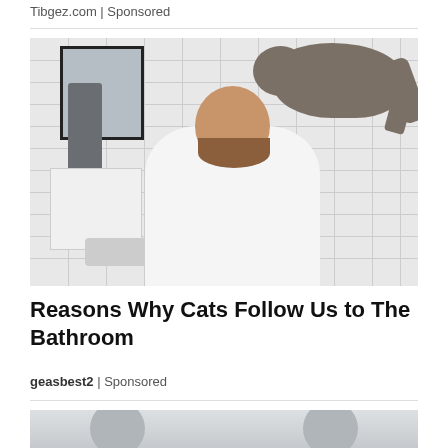Tibgez.com | Sponsored
[Figure (photo): A man smiling while leaning over a bathroom sink, with a tabby cat standing on his back. White subway tile walls, a mirror, and a grey towel visible in the background.]
Reasons Why Cats Follow Us to The Bathroom
geasbest2 | Sponsored
[Figure (photo): Partially visible bottom preview image showing two blurred circular silhouettes.]